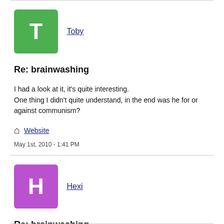[Figure (other): Green avatar with letter T for user Toby]
Toby
Re: brainwashing
I had a look at it, it's quite interesting.
One thing I didn't quite understand, in the end was he for or against communism?
Website
May 1st, 2010 - 1:41 PM
[Figure (other): Purple avatar with letter H for user Hexi]
Hexi
Re: brainwashing